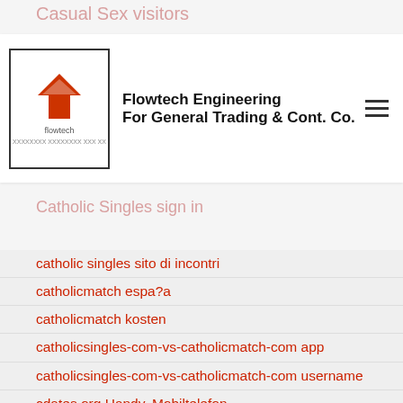Casual Sex visitors
[Figure (logo): Flowtech Engineering logo with orange arrow icon and border]
Flowtech Engineering For General Trading & Cont. Co.
Singles review
Catholic Singles sign in
catholic singles sito di incontri
catholicmatch espa?a
catholicmatch kosten
catholicsingles-com-vs-catholicmatch-com app
catholicsingles-com-vs-catholicmatch-com username
cdates.org Handy, Mobiltelefon
cdates.org ist gratis
cedar-rapids live escort reviews
centennial escort service
chandler escort
Chappy reviews